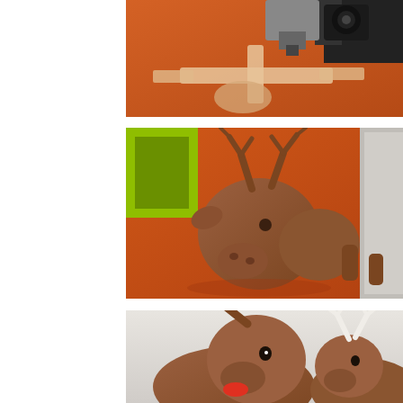[Figure (photo): Close-up photo of a 3D printer nozzle printing flat cross-shaped parts on an orange build plate, with circular and rectangular plastic pieces visible.]
[Figure (photo): Photo of a 3D printed brown reindeer figurine in pieces on an orange build plate, with the head showing antlers and separate leg pieces, next to a green 3D printer frame.]
[Figure (photo): Close-up photo of two assembled brown 3D printed reindeer figurines facing each other, one with a red tongue sticking out, one with white antlers.]